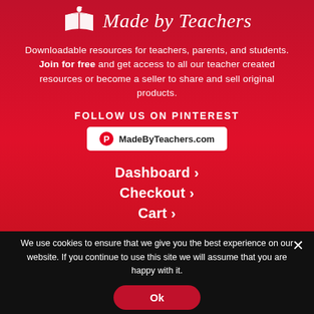[Figure (logo): Made by Teachers logo with open book icon and apple]
Downloadable resources for teachers, parents, and students. Join for free and get access to all our teacher created resources or become a seller to share and sell original products.
FOLLOW US ON PINTEREST
[Figure (other): Pinterest button with logo and text: MadeByTeachers.com]
Dashboard ›
Checkout ›
Cart ›
We use cookies to ensure that we give you the best experience on our website. If you continue to use this site we will assume that you are happy with it.
Ok